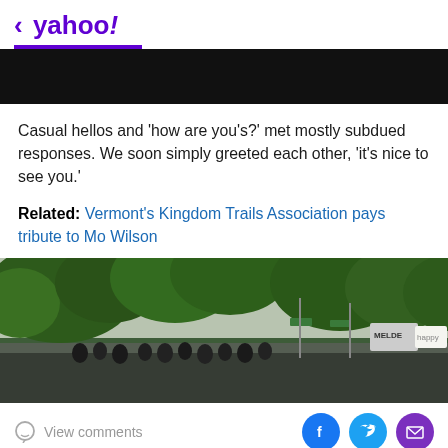< yahoo!
[Figure (photo): Black banner/advertisement strip]
Casual hellos and ‘how are you’s?’ met mostly subdued responses. We soon simply greeted each other, ‘it’s nice to see you.’
Related: Vermont’s Kingdom Trails Association pays tribute to Mo Wilson
[Figure (photo): Outdoor photo showing a crowd of people walking along a tree-lined street with green trees and a cloudy sky. Signs visible include MELDE and happy in background.]
View comments